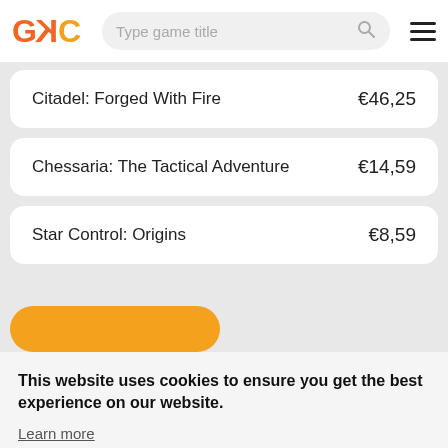GKC — Type game title [search] [menu]
Citadel: Forged With Fire  €46,25
Chessaria: The Tactical Adventure  €14,59
Star Control: Origins  €8,59
This website uses cookies to ensure you get the best experience on our website.
Learn more
Got it!